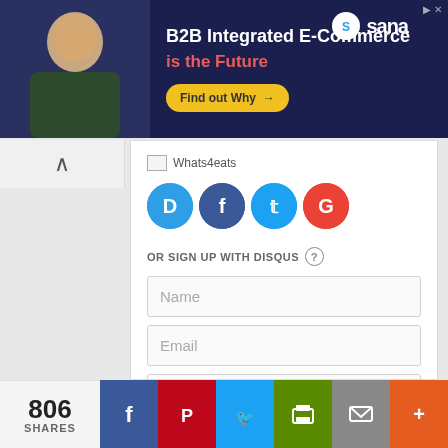[Figure (screenshot): Advertisement banner for Sana B2B Integrated E-Commerce with dark navy background, person photo, text 'B2B Integrated E-Commerce is the Future', yellow 'Find out Why' button, and Sana logo]
[Figure (screenshot): Disqus comment sign-in interface showing Whats4eats logo, social login circles (Disqus, Facebook, Twitter, Google), sign up form with Name/Email/Password fields, and privacy policy text]
[Figure (screenshot): Social share bar at bottom showing 806 SHARES count, and share buttons for Facebook, Pinterest, Twitter, Print, Email, and More]